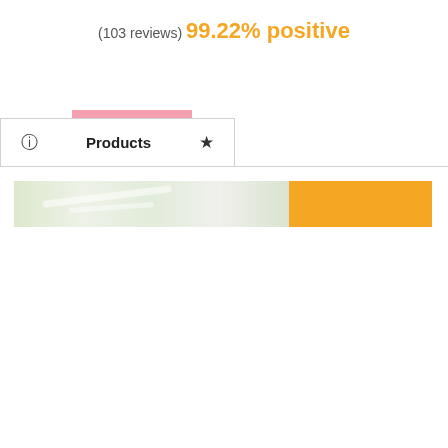(103 reviews) 99.22% positive
[Figure (screenshot): Navigation tab bar with info icon, Products tab (active), and star/favorites icon. A pink indicator bar appears above the Products tab.]
[Figure (photo): Product banner image showing a food or herb item on the left side and an orange/gold button on the right side.]